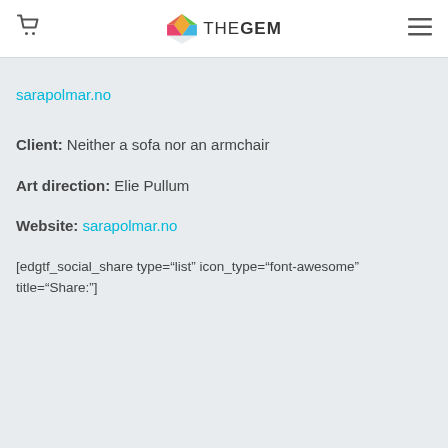THE GEM (logo header with cart and menu icons)
sarapolmar.no
Client: Neither a sofa nor an armchair
Art direction: Elie Pullum
Website: sarapolmar.no
[edgtf_social_share type="list" icon_type="font-awesome" title="Share:"]